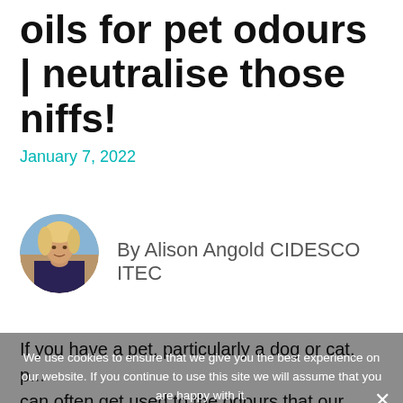oils for pet odours | neutralise those niffs!
January 7, 2022
[Figure (photo): Circular profile photo of a blonde woman (Alison Angold) outdoors]
By Alison Angold CIDESCO ITEC
If you have a pet, particularly a dog or cat, p... can often get used to the odours that our furry friends leave, but other people may
We use cookies to ensure that we give you the best experience on our website. If you continue to use this site we will assume that you are happy with it.